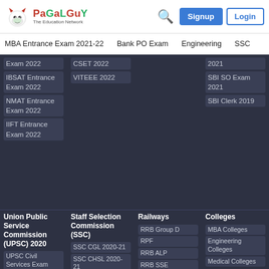[Figure (logo): PaGaLGuY devil mascot logo with text 'PaGaLGuY The Education Network']
MBA Entrance Exam 2021-22   Bank PO Exam   Engineering   SSC
Exam 2022
CSET 2022
2021
IBSAT Entrance Exam 2022
VITEEE 2022
SBI SO Exam 2021
NMAT Entrance Exam 2022
SBI Clerk 2019
IIFT Entrance Exam 2022
Union Public Service Commission (UPSC) 2020
Staff Selection Commission (SSC)
Railways
Colleges
UPSC Civil Services Exam (CSE) 2020
UPSC
SSC CGL 2020-21
SSC CHSL 2020-21
SSC JE
RRB Group D
RPF
RRB ALP
RRB SSE
MBA Colleges
Engineering Colleges
Medical Colleges